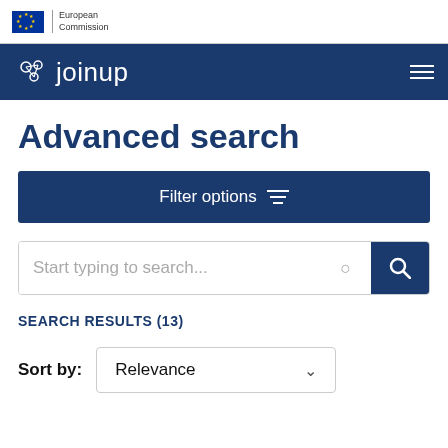[Figure (logo): European Commission logo with EU flag stars and 'European Commission' text]
joinup
Advanced search
Filter options
Start typing to search...
SEARCH RESULTS (13)
Sort by: Relevance